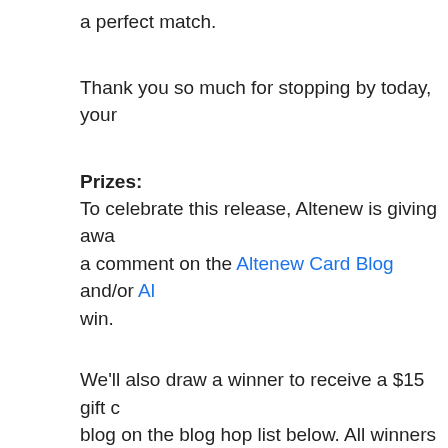a perfect match.
Thank you so much for stopping by today, your
Prizes:
To celebrate this release, Altenew is giving awa… a comment on the Altenew Card Blog and/or Al… win.
We'll also draw a winner to receive a $15 gift c… blog on the blog hop list below. All winners will
Special Offer
To celebrate the launch of the new stencils, Alt… Save 25% on the 12 Metallic Shimmer Ink Spra… 5/24/24 at 11:59 PM EDT. Not available…